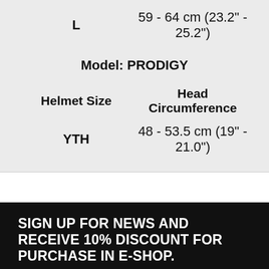| Helmet Size | Head Circumference |
| --- | --- |
| L | 59 - 64 cm (23.2" - 25.2") |
Model: PRODIGY
| Helmet Size | Head Circumference |
| --- | --- |
| YTH | 48 - 53.5 cm (19" - 21.0") |
SIGN UP FOR NEWS AND RECEIVE 10% DISCOUNT FOR PURCHASE IN E-SHOP.